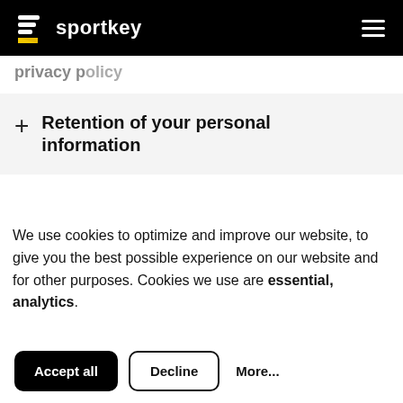sportkey
+ Retention of your personal information
We use cookies to optimize and improve our website, to give you the best possible experience on our website and for other purposes. Cookies we use are essential, analytics.
Accept all | Decline | More...